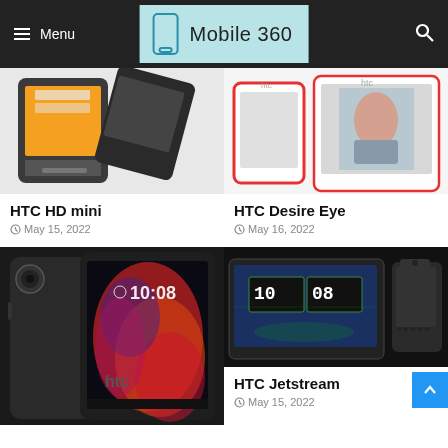Menu | Mobile 360
[Figure (photo): HTC HD mini smartphone product photo]
HTC HD mini
May 15, 2022
[Figure (photo): HTC Desire Eye smartphone product photo]
HTC Desire Eye
May 16, 2022
[Figure (photo): HTC Desire 10 smartphone product photo]
[Figure (photo): HTC Jetstream tablet product photo]
HTC Jetstream
May 15, 2022